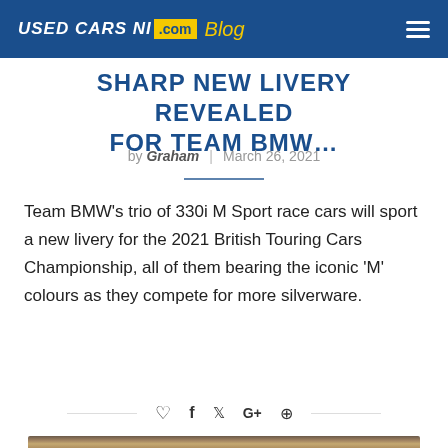USED CARS NI .com Blog
SHARP NEW LIVERY REVEALED FOR TEAM BMW…
by Graham | March 26, 2021
Team BMW's trio of 330i M Sport race cars will sport a new livery for the 2021 British Touring Cars Championship, all of them bearing the iconic 'M' colours as they compete for more silverware.
[Figure (photo): Partial view of a building with brick exterior and curved roof edge visible at the bottom of the page]